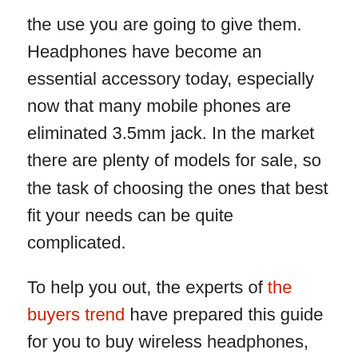the use you are going to give them. Headphones have become an essential accessory today, especially now that many mobile phones are eliminated 3.5mm jack. In the market there are plenty of models for sale, so the task of choosing the ones that best fit your needs can be quite complicated.
To help you out, the experts of the buyers trend have prepared this guide for you to buy wireless headphones, with useful tips that will help you make the right choice.
Define your Priorities
First of all, the first thing you have to do is define what your priorities are. Surely you would like to buy